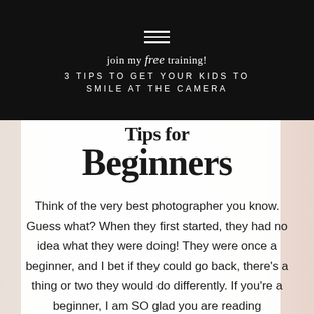join my free training! 3 TIPS TO GET YOUR KIDS TO SMILE AT THE CAMERA
Tips for Beginners
Think of the very best photographer you know. Guess what? When they first started, they had no idea what they were doing! They were once a beginner, and I bet if they could go back, there's a thing or two they would do differently. If you're a beginner, I am SO glad you are reading